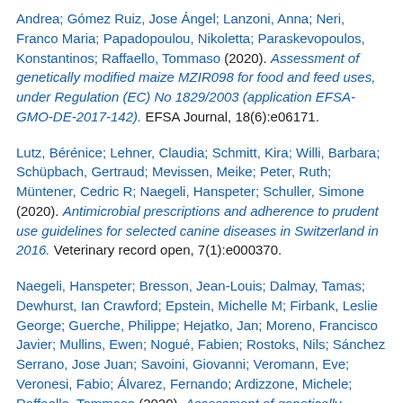Andrea; Gómez Ruiz, Jose Ángel; Lanzoni, Anna; Neri, Franco Maria; Papadopoulou, Nikoletta; Paraskevopoulos, Konstantinos; Raffaello, Tommaso (2020). Assessment of genetically modified maize MZIR098 for food and feed uses, under Regulation (EC) No 1829/2003 (application EFSA-GMO-DE-2017-142). EFSA Journal, 18(6):e06171.
Lutz, Bérénice; Lehner, Claudia; Schmitt, Kira; Willi, Barbara; Schüpbach, Gertraud; Mevissen, Meike; Peter, Ruth; Müntener, Cedric R; Naegeli, Hanspeter; Schuller, Simone (2020). Antimicrobial prescriptions and adherence to prudent use guidelines for selected canine diseases in Switzerland in 2016. Veterinary record open, 7(1):e000370.
Naegeli, Hanspeter; Bresson, Jean-Louis; Dalmay, Tamas; Dewhurst, Ian Crawford; Epstein, Michelle M; Firbank, Leslie George; Guerche, Philippe; Hejatko, Jan; Moreno, Francisco Javier; Mullins, Ewen; Nogué, Fabien; Rostoks, Nils; Sánchez Serrano, Jose Juan; Savoini, Giovanni; Veromann, Eve; Veronesi, Fabio; Álvarez, Fernando; Ardizzone, Michele; Raffaello, Tommaso (2020). Assessment of genetically modified maize MON 88017 for renewal authorisation under Regulation (EC) No 1829/2003 (application EFSA-GMO-RX-014). EFSA Journal, 18(2).